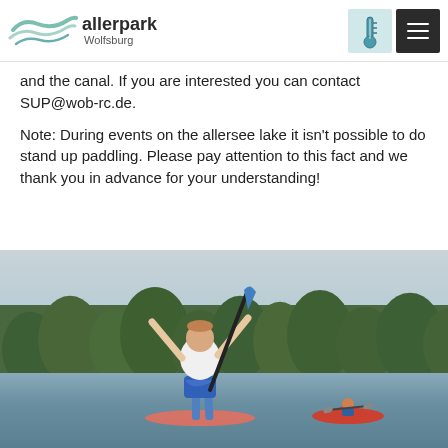allerpark Wolfsburg
and the canal. If you are interested you can contact SUP@wob-rc.de.
Note: During events on the allersee lake it isn't possible to do stand up paddling. Please pay attention to this fact and we thank you in advance for your understanding!
[Figure (photo): A man standing on a stand-up paddleboard on a lake, holding a paddle raised above his head with arms outstretched in celebration. He wears a white t-shirt and patterned shorts. Trees line the background and a red kayak with a paddler is visible in the distance on the right.]